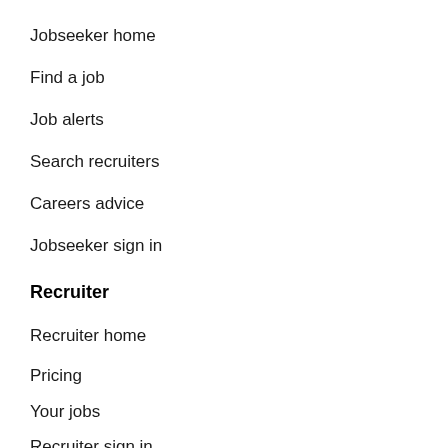Jobseeker home
Find a job
Job alerts
Search recruiters
Careers advice
Jobseeker sign in
Recruiter
Recruiter home
Pricing
Your jobs
Recruiter sign in
ACCA Careers
About us